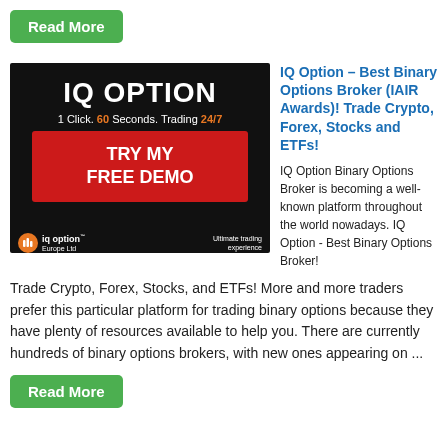Read More
[Figure (screenshot): IQ Option advertisement banner on dark background. Shows 'IQ OPTION' in large white text, tagline '1 Click. 60 Seconds. Trading 24/7' with '60' and '24/7' in orange, a red button saying 'TRY MY FREE DEMO', and footer with IQ Option Europe Ltd logo and 'Ultimate trading experience' text.]
IQ Option – Best Binary Options Broker (IAIR Awards)! Trade Crypto, Forex, Stocks and ETFs!
IQ Option Binary Options Broker is becoming a well-known platform throughout the world nowadays. IQ Option - Best Binary Options Broker!
Trade Crypto, Forex, Stocks, and ETFs! More and more traders prefer this particular platform for trading binary options because they have plenty of resources available to help you. There are currently hundreds of binary options brokers, with new ones appearing on ...
Read More